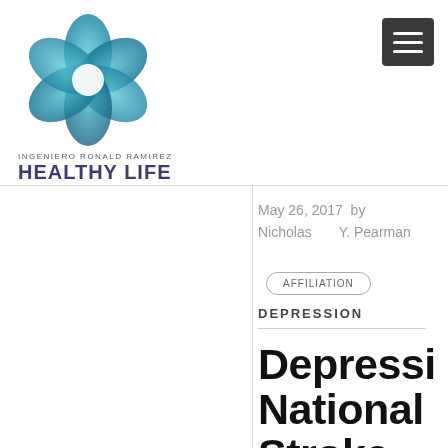[Figure (logo): Flower/petal logo in teal/blue gradient colors for Ingeniero Ronald Ramirez Healthy Life]
INGENIERO RONALD RAMIREZ
HEALTHY LIFE
May 26, 2017  by Nicholas Y. Pearman
AFFILIATION
DEPRESSION
Depressi National Stroke